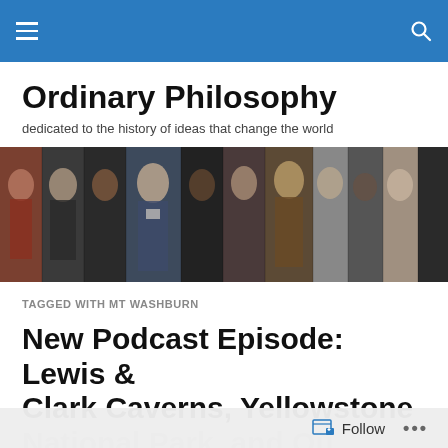Ordinary Philosophy — navigation bar with hamburger menu and search icon
Ordinary Philosophy
dedicated to the history of ideas that change the world
[Figure (photo): A horizontal banner strip showing portraits of approximately 12 historical figures side by side, in both color and black-and-white photographs]
TAGGED WITH MT WASHBURN
New Podcast Episode: Lewis & Clark Caverns, Yellowstone National Park, and Ou...